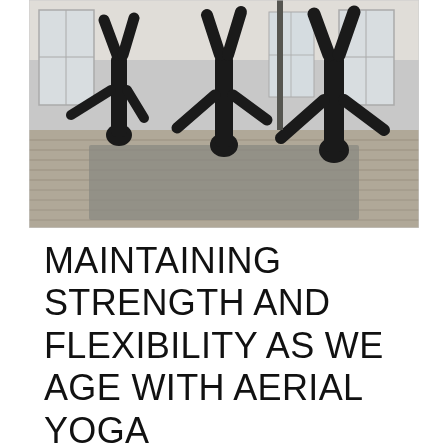[Figure (photo): Black and white photograph of people practicing aerial yoga, hanging upside down from fabric hammocks or poles in a bright studio with wooden floors, large windows, and area rugs.]
MAINTAINING STRENGTH AND FLEXIBILITY AS WE AGE WITH AERIAL YOGA